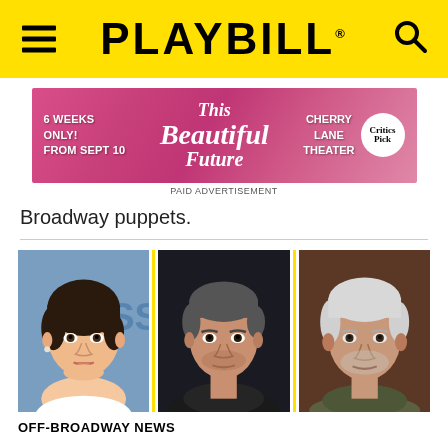PLAYBILL
[Figure (photo): Advertisement banner for 'This Beautiful Future' at Cherry Lane Theater, 6 weeks only from Sept 10, with NY Times Critics Pick badge]
PAID ADVERTISEMENT
Broadway puppets.
[Figure (photo): Three headshots side by side: a young woman with dark hair against blue background, a middle-aged man with grey-streaked hair against dark background, and an older man with white hair against brown background]
OFF-BROADWAY NEWS